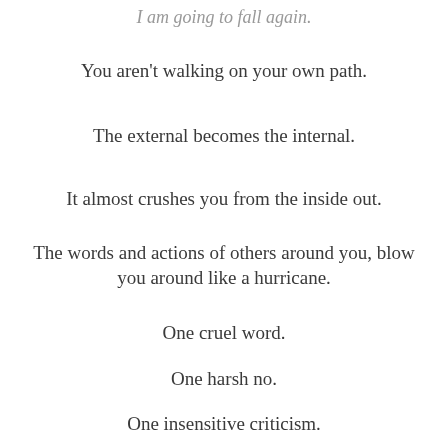I am going to fall again.
You aren't walking on your own path.
The external becomes the internal.
It almost crushes you from the inside out.
The words and actions of others around you, blow you around like a hurricane.
One cruel word.
One harsh no.
One insensitive criticism.
One perceived snide look.
One PPE...